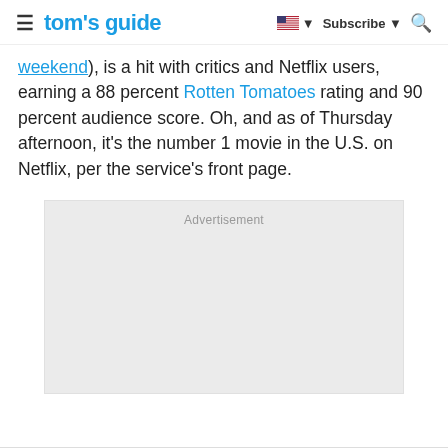≡  tom's guide   🇺🇸 ▼   Subscribe ▼   🔍
weekend), is a hit with critics and Netflix users, earning a 88 percent Rotten Tomatoes rating and 90 percent audience score. Oh, and as of Thursday afternoon, it's the number 1 movie in the U.S. on Netflix, per the service's front page.
[Figure (other): Advertisement placeholder box with gray background]